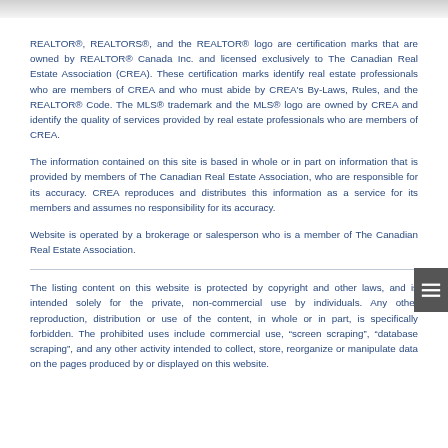REALTOR®, REALTORS®, and the REALTOR® logo are certification marks that are owned by REALTOR® Canada Inc. and licensed exclusively to The Canadian Real Estate Association (CREA). These certification marks identify real estate professionals who are members of CREA and who must abide by CREA's By-Laws, Rules, and the REALTOR® Code. The MLS® trademark and the MLS® logo are owned by CREA and identify the quality of services provided by real estate professionals who are members of CREA.
The information contained on this site is based in whole or in part on information that is provided by members of The Canadian Real Estate Association, who are responsible for its accuracy. CREA reproduces and distributes this information as a service for its members and assumes no responsibility for its accuracy.
Website is operated by a brokerage or salesperson who is a member of The Canadian Real Estate Association.
The listing content on this website is protected by copyright and other laws, and is intended solely for the private, non-commercial use by individuals. Any other reproduction, distribution or use of the content, in whole or in part, is specifically forbidden. The prohibited uses include commercial use, "screen scraping", "database scraping", and any other activity intended to collect, store, reorganize or manipulate data on the pages produced by or displayed on this website.